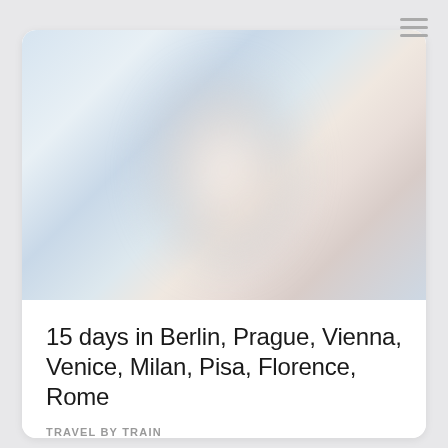[Figure (photo): Blurred travel photo with light blue and warm tones, appears to show a person or landmark in soft focus]
15 days in Berlin, Prague, Vienna, Venice, Milan, Pisa, Florence, Rome
TRAVEL BY TRAIN